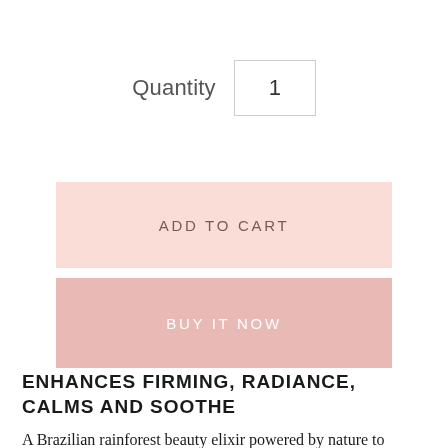Quantity   1
ADD TO CART
BUY IT NOW
ENHANCES FIRMING, RADIANCE, CALMS AND SOOTHE
A Brazilian rainforest beauty elixir powered by nature to enhance your skin's healthy glow. This fast-